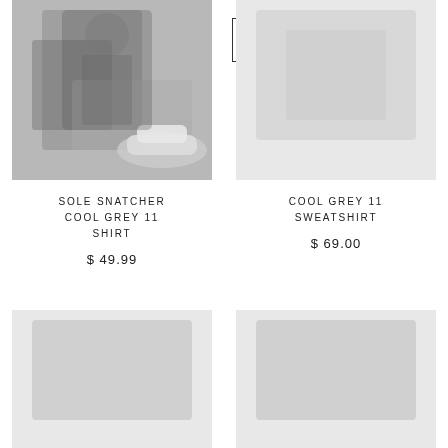[Figure (screenshot): Sort dropdown UI element with chevron icon]
[Figure (photo): Product image: Sole Snatcher Cool Grey 11 Shirt - shows a grayscale artistic image of a person with sneakers]
SOLE SNATCHER COOL GREY 11 SHIRT
$ 49.99
[Figure (photo): Product image: Cool Grey 11 Sweatshirt - partially visible light grey background]
COOL GREY 11 SWEATSHIRT
$ 69.00
[Figure (photo): Product image: Cool Grey 11 - bottom row left, mostly white/empty visible area]
COOL GREY 11
[Figure (photo): Product image: Cool Grey 11 Sole - bottom row right, mostly white/empty visible area]
COOL GREY 11 SOLE